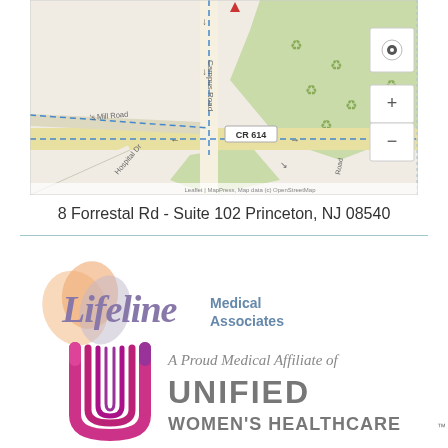[Figure (map): Street map showing 8 Forrestal Rd area in Princeton NJ, with CR 614, Campus Road, Hospital Drive, and surrounding green areas. Map controls (+/-) visible on right side. Attribution: Leaflet | MapPress, Map data (c) OpenStreetMap]
8 Forrestal Rd - Suite 102 Princeton, NJ 08540
[Figure (logo): Lifeline Medical Associates logo with heart/leaf motif in peach/orange colors and script text, alongside 'A Proud Medical Affiliate of UNIFIED WOMEN'S HEALTHCARE' with stylized U logo in pink/purple gradient]